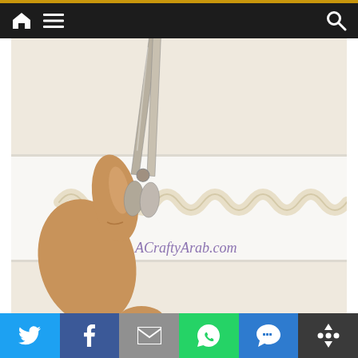Navigation bar with home, menu, and search icons
[Figure (photo): A hand holding a strip of white fabric/felt with a wavy ric-rac trim along the top edge. Scissors are cutting the strip horizontally. Watermark text 'ACraftyArab.com' in purple script is visible on the image.]
Social share buttons: Twitter, Facebook, Email, WhatsApp, SMS, More